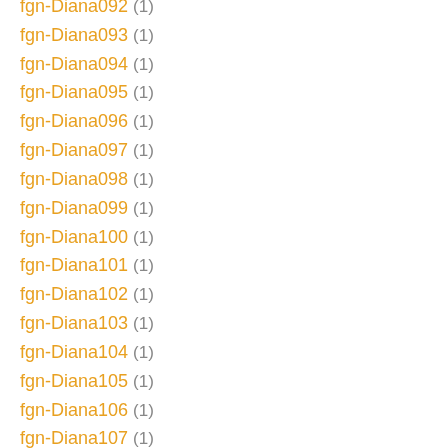fgn-Diana092 (1)
fgn-Diana093 (1)
fgn-Diana094 (1)
fgn-Diana095 (1)
fgn-Diana096 (1)
fgn-Diana097 (1)
fgn-Diana098 (1)
fgn-Diana099 (1)
fgn-Diana100 (1)
fgn-Diana101 (1)
fgn-Diana102 (1)
fgn-Diana103 (1)
fgn-Diana104 (1)
fgn-Diana105 (1)
fgn-Diana106 (1)
fgn-Diana107 (1)